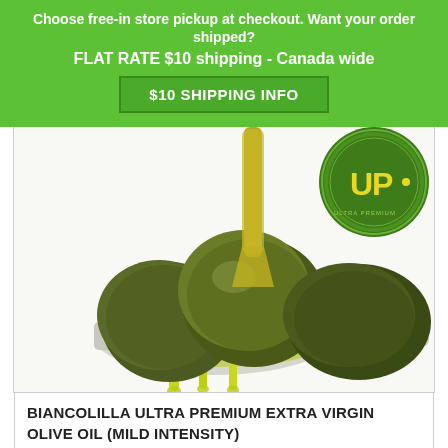Choose free-in store pickup at checkout. Want your order shipped?
FLAT RATE $10 shipping - Canada wide
$10 SHIPPING INFO
[Figure (photo): Product photo showing green olives on a spoon being drizzled with golden-green olive oil, with a tin of Ultra Premium olive oil visible in the top-right corner. The background is white.]
BIANCOLILLA ULTRA PREMIUM EXTRA VIRGIN OLIVE OIL (MILD INTENSITY)